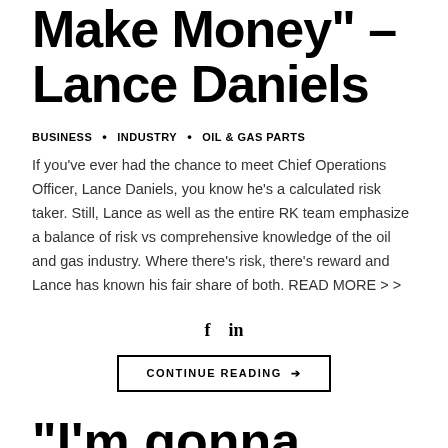Make Money" – Lance Daniels
BUSINESS • INDUSTRY • OIL & GAS PARTS
If you've ever had the chance to meet Chief Operations Officer, Lance Daniels, you know he's a calculated risk taker. Still, Lance as well as the entire RK team emphasize a balance of risk vs comprehensive knowledge of the oil and gas industry. Where there's risk, there's reward and Lance has known his fair share of both. READ MORE > >
f  in
CONTINUE READING →
"I'm gonna make him an